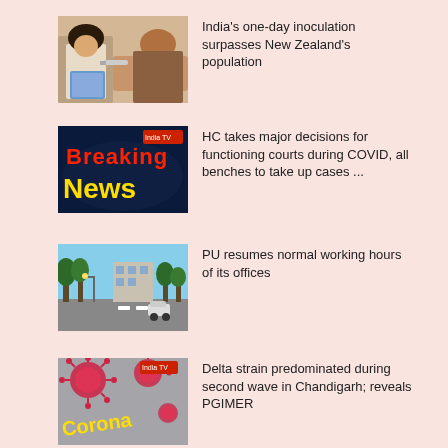[Figure (photo): Medical professional giving injection/vaccination to a patient]
India's one-day inoculation surpasses New Zealand's population
[Figure (photo): Breaking News graphic with red and yellow text on dark blue background]
HC takes major decisions for functioning courts during COVID, all benches to take up cases ...
[Figure (photo): Street scene with road, trees, and buildings under blue sky]
PU resumes normal working hours of its offices
[Figure (photo): Corona virus illustration with virus particles and Corona text]
Delta strain predominated during second wave in Chandigarh; reveals PGIMER